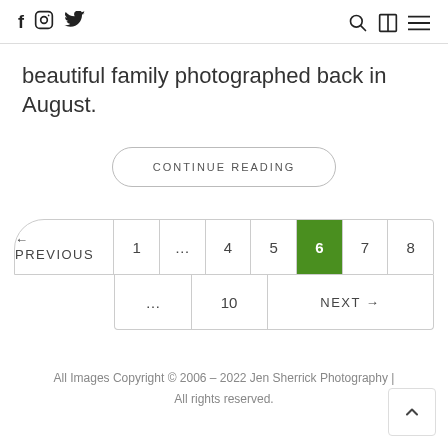f  [instagram]  [twitter]   [search] [layout] [menu]
beautiful family photographed back in August.
CONTINUE READING
← PREVIOUS  1  …  4  5  6  7  8  …  10  NEXT →
All Images Copyright © 2006 – 2022 Jen Sherrick Photography | All rights reserved.